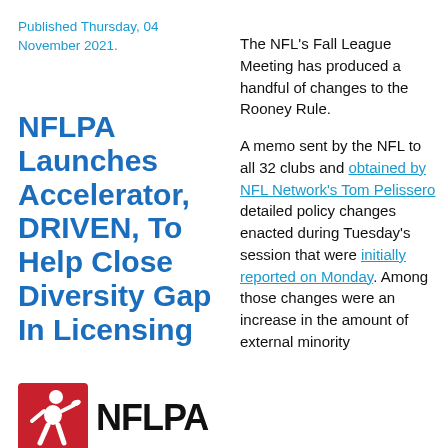Published Thursday, 04 November 2021.
NFLPA Launches Accelerator, DRIVEN, To Help Close Diversity Gap In Licensing
[Figure (logo): NFLPA logo with red square icon of a football player and bold black text 'NFLPA']
The NFL's Fall League Meeting has produced a handful of changes to the Rooney Rule. A memo sent by the NFL to all 32 clubs and obtained by NFL Network's Tom Pelissero detailed policy changes enacted during Tuesday's session that were initially reported on Monday. Among those changes were an increase in the amount of external minority